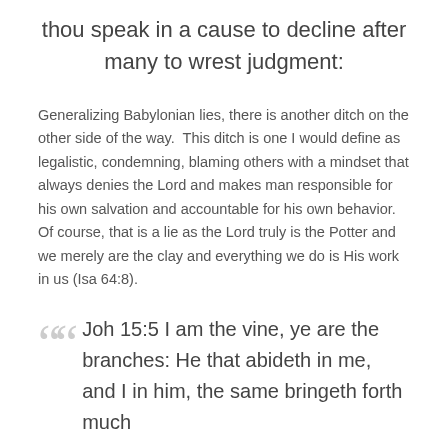thou speak in a cause to decline after many to wrest judgment:
Generalizing Babylonian lies, there is another ditch on the other side of the way.  This ditch is one I would define as legalistic, condemning, blaming others with a mindset that always denies the Lord and makes man responsible for his own salvation and accountable for his own behavior.  Of course, that is a lie as the Lord truly is the Potter and we merely are the clay and everything we do is His work in us (Isa 64:8).
Joh 15:5 I am the vine, ye are the branches: He that abideth in me, and I in him, the same bringeth forth much